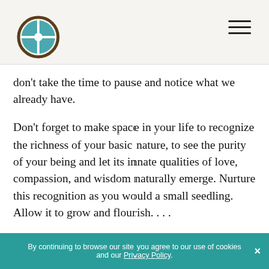[Logo: globe with cross] [Hamburger menu]
don't take the time to pause and notice what we already have.
Don't forget to make space in your life to recognize the richness of your basic nature, to see the purity of your being and let its innate qualities of love, compassion, and wisdom naturally emerge. Nurture this recognition as you would a small seedling. Allow it to grow and flourish. . . .
Keep this teaching at the heart of your practice. Wherever you are and whatever you are doing, pause from time to time and relax
By continuing to browse our site you agree to our use of cookies and our Privacy Policy. ×